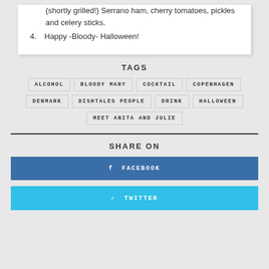(shortly grilled!) Serrano ham, cherry tomatoes, pickles and celery sticks.
4. Happy -Bloody- Halloween!
TAGS
ALCOHOL  BLOODY MARY  COCKTAIL  COPENHAGEN  DENMARK  DISHTALES PEOPLE  DRINK  HALLOWEEN  MEET ANITA AND JULIE
SHARE ON
FACEBOOK
TWITTER